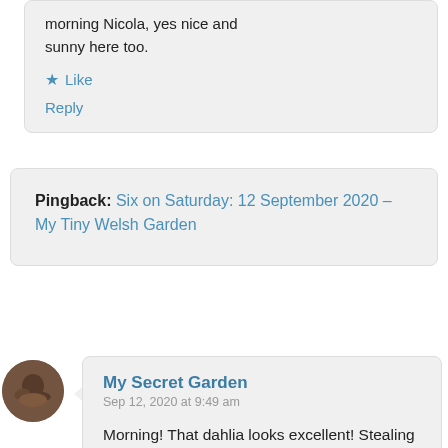morning Nicola, yes nice and sunny here too.
★ Like
Reply
Pingback: Six on Saturday: 12 September 2020 – My Tiny Welsh Garden
[Figure (photo): Circular avatar photo of a person]
My Secret Garden
Sep 12, 2020 at 9:49 am
Morning! That dahlia looks excellent! Stealing your thunder a bit with a focus on propagation in my #Six today.